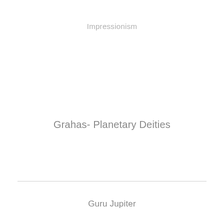Impressionism
Grahas- Planetary Deities
Guru Jupiter